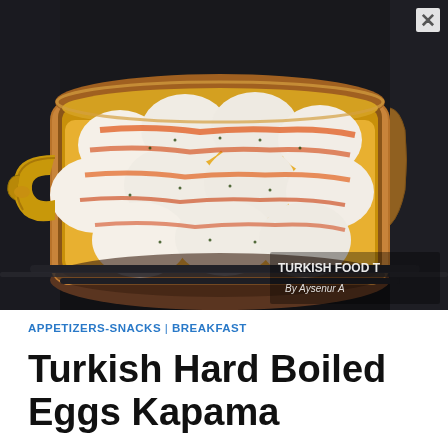[Figure (photo): A copper pan with gold handles on a gas stove, filled with hard boiled eggs coated in orange spiced butter sauce with herbs. Watermark reads 'TURKISH FOOD T By Aysenur A' in bottom right corner.]
APPETIZERS-SNACKS | BREAKFAST
Turkish Hard Boiled Eggs Kapama